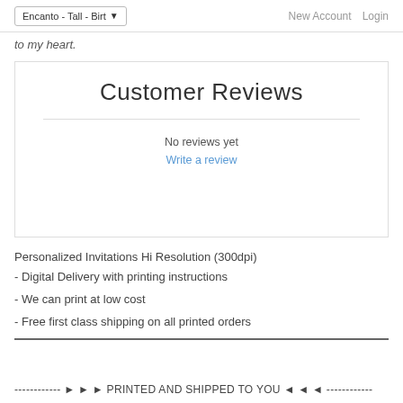Encanto - Tall - Birt▾   New Account   Login
to my heart.
Customer Reviews
No reviews yet
Write a review
Personalized Invitations Hi Resolution (300dpi)
- Digital Delivery with printing instructions
- We can print at low cost
- Free first class shipping on all printed orders
------------ ► ► ► PRINTED AND SHIPPED TO YOU ◄ ◄ ◄ ------------